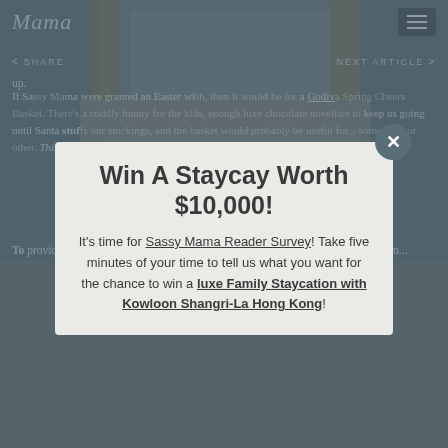Mama
up.
If Sassy Mama were granted an Easter wish, then it would be for a Godiva Spring Cheers Basket. There's a cuddly bunny for the kids, enough luxe chocolate novelties to keep us going until Santa stuffs our stockings, and the basket would probably be useful for... something or other. This is mama logic.
Win A Staycay Worth $10,000!
It's time for Sassy Mama Reader Survey! Take five minutes of your time to tell us what you want for the chance to win a luxe Family Staycation with Kowloon Shangri-La Hong Kong!
To provide you with a better experience, this website uses cookies. For more inform...